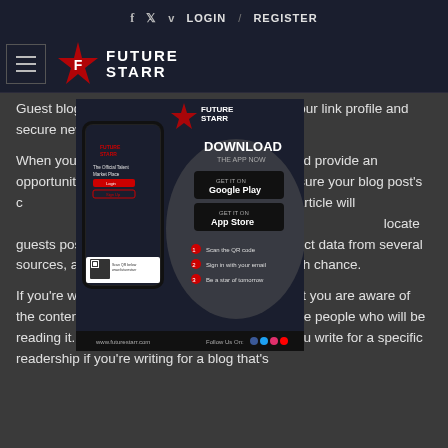f  twitter  v  LOGIN  /  REGISTER
[Figure (logo): FutureStarr logo with hamburger menu icon and star graphic]
Guest blogs are an excellent method to boost your link profile and secure new b... into consideration whe...
[Figure (screenshot): FutureStarr app advertisement overlay showing phone mockup, Download the App Now with Google Play and App Store buttons, QR code, and www.futurestarr.com]
When you write a... te could provide an opportunity to ... t to make sure your blog post's c... ner. A well-written article will ... d boost your chances to share ... locate guests post-writing opportunities. You must collect data from several sources, as well as create unique pitches to each chance.
If you're writing a guest blog post Make sure that you are aware of the content of your blog's target is , as well as the people who will be reading it. Make sure you choose the content you write for a specific readership if you're writing for a blog that's